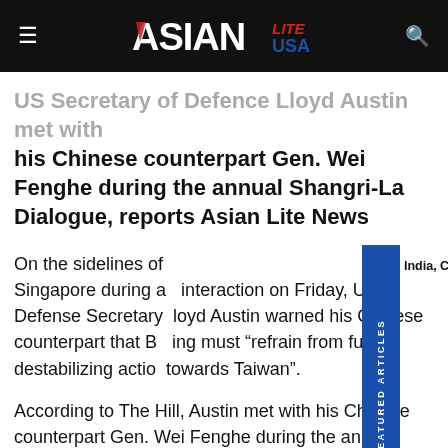Asian Lite USA
US Secretary of Defence Lloyd Austin met with his Chinese counterpart Gen. Wei Fenghe during the annual Shangri-La Dialogue, reports Asian Lite News
On the sidelines of [India, China hold military level talks] Singapore during a interaction on Friday, US Defense Secretary Lloyd Austin warned his Chinese counterpart that Beijing must “refrain from further destabilizing actions towards Taiwan”.
According to The Hill, Austin met with his Chinese counterpart Gen. Wei Fenghe during the annual Shangri-La Dialogue. Pentagon stated in a statement